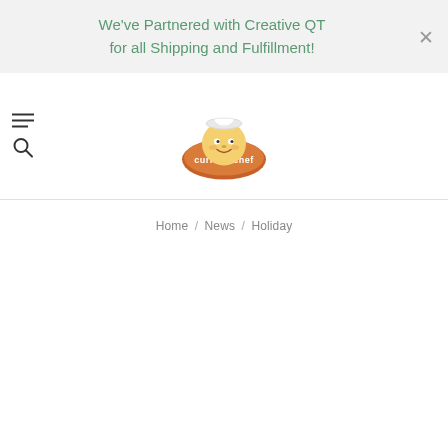We've Partnered with Creative QT for all Shipping and Fulfillment!
[Figure (logo): Curious Chef logo: cartoon chef character peeking over an orange oval with 'curious chef' text]
Home / News / Holiday